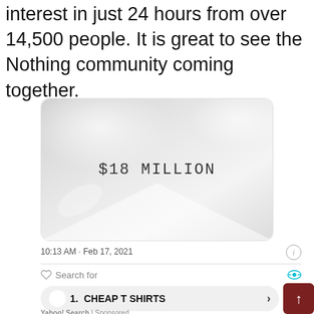interest in just 24 hours from over 14,500 people. It is great to see the Nothing community coming together.
[Figure (photo): A light gray/white abstract image with soft gradient highlights, displaying the text '$18 MILLION' in monospace font in the center.]
10:13 AM · Feb 17, 2021
Search for
1.   CHEAP T SHIRTS
Yahoo! Search | Sponsored